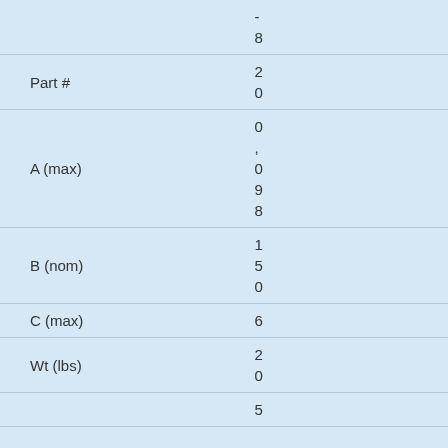|  | -
8 |
| Part # | 2
0 |
| A (max) | 0
.
0
9
8 |
| B (nom) | 1
5
0 |
| C (max) | 6 |
| Wt (lbs) | 2
0 |
|  | 5 |